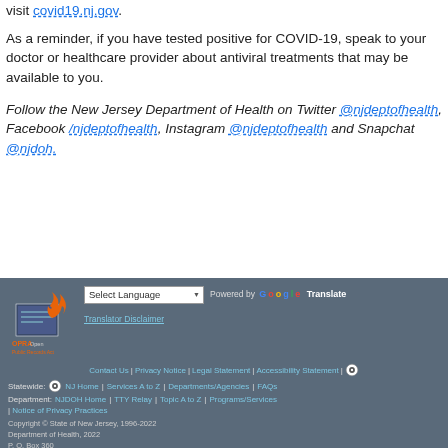visit covid19.nj.gov.
As a reminder, if you have tested positive for COVID-19, speak to your doctor or healthcare provider about antiviral treatments that may be available to you.
Follow the New Jersey Department of Health on Twitter @njdeptofhealth, Facebook /njdeptofhealth, Instagram @njdeptofhealth and Snapchat @njdoh.
Contact Us | Privacy Notice | Legal Statement | Accessibility Statement | Statewide: NJ Home | Services A to Z | Departments/Agencies | FAQs Department: NJDOH Home | TTY Relay | Topic A to Z | Programs/Services | Notice of Privacy Practices Copyright © State of New Jersey, 1996-2022 Department of Health, 2022 P. O. Box 360 Trenton, NJ 08625-0360